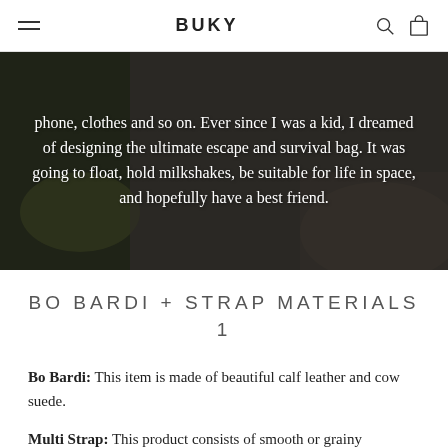BUKY
[Figure (photo): Dark background photo with overlaid white centered text: 'phone, clothes and so on. Ever since I was a kid, I dreamed of designing the ultimate escape and survival bag. It was going to float, hold milkshakes, be suitable for life in space, and hopefully have a best friend.']
BO BARDI + STRAP MATERIALS
1
Bo Bardi: This item is made of beautiful calf leather and cow suede.
Multi Strap: This product consists of smooth or grainy